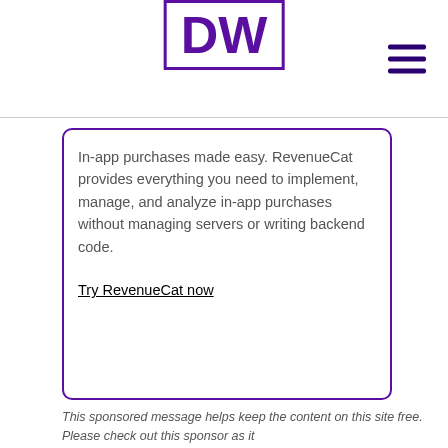DW
[Figure (logo): DW logo in purple box with hamburger menu icon on the right]
In-app purchases made easy. RevenueCat provides everything you need to implement, manage, and analyze in-app purchases without managing servers or writing backend code.
Try RevenueCat now
This sponsored message helps keep the content on this site free. Please check out this sponsor as it